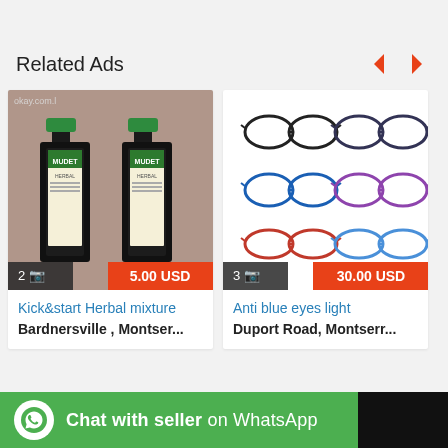Related Ads
[Figure (photo): Two bottles of Mudet herbal mixture with green caps]
2 photos · 5.00 USD
Kick&start Herbal mixture
Bardnersville , Montser...
[Figure (photo): Six pairs of anti blue light glasses frames in black, purple, blue, pink colors arranged in a 2x3 grid]
3 photos · 30.00 USD
Anti blue eyes light
Duport Road, Montserr...
Chat with seller on WhatsApp